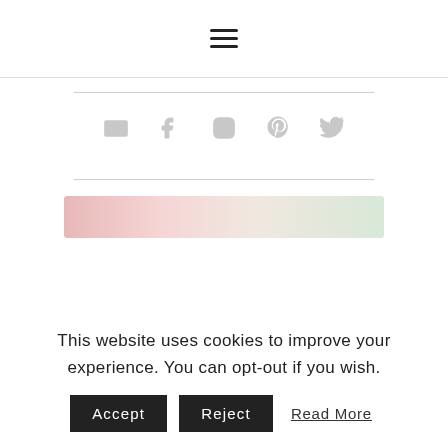Navigation menu (hamburger icon)
[Figure (illustration): Five social media icons in light gray: email/envelope, Facebook, Instagram, Pinterest, Twitter]
[Figure (photo): Partial view of a crafted item with pink/red beaded or floral design, light pastel colors]
This website uses cookies to improve your experience. You can opt-out if you wish.
Accept  Reject  Read More